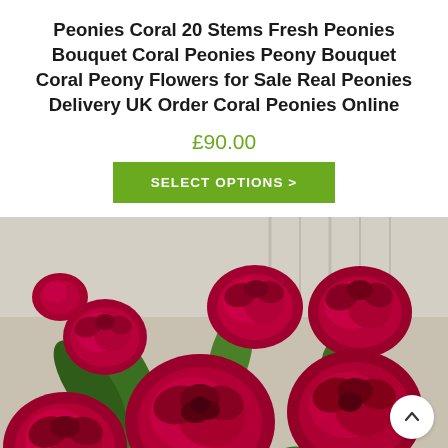Peonies Coral 20 Stems Fresh Peonies Bouquet Coral Peonies Peony Bouquet Coral Peony Flowers for Sale Real Peonies Delivery UK Order Coral Peonies Online
£90.00
SELECT OPTIONS >
[Figure (photo): Close-up photograph of deep red/crimson peony flowers with green leaves in a bouquet arrangement against a light background.]